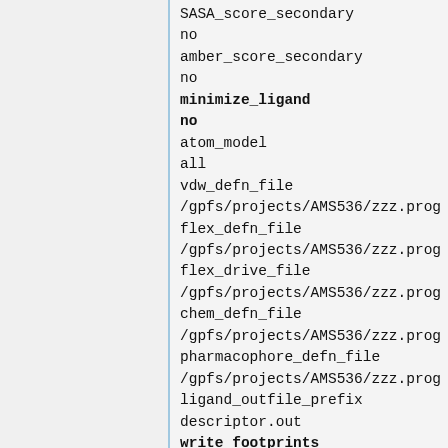SASA_score_secondary
no
amber_score_secondary
no
minimize_ligand
no
atom_model
all
vdw_defn_file
/gpfs/projects/AMS536/zzz.prog
flex_defn_file
/gpfs/projects/AMS536/zzz.prog
flex_drive_file
/gpfs/projects/AMS536/zzz.prog
chem_defn_file
/gpfs/projects/AMS536/zzz.prog
pharmacophore_defn_file
/gpfs/projects/AMS536/zzz.prog
ligand_outfile_prefix
descriptor.out
write_footprints
yes
write_hbonds
yes
write_orientations